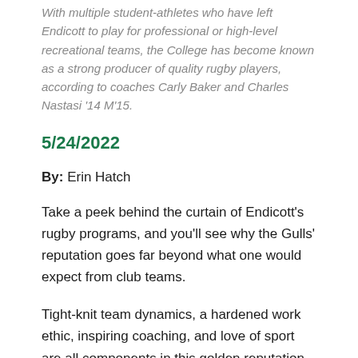With multiple student-athletes who have left Endicott to play for professional or high-level recreational teams, the College has become known as a strong producer of quality rugby players, according to coaches Carly Baker and Charles Nastasi '14 M'15.
5/24/2022
By: Erin Hatch
Take a peek behind the curtain of Endicott's rugby programs, and you'll see why the Gulls' reputation goes far beyond what one would expect from club teams.
Tight-knit team dynamics, a hardened work ethic, inspiring coaching, and love of sport are all components in this golden reputation that has been building on the national college rugby scene.